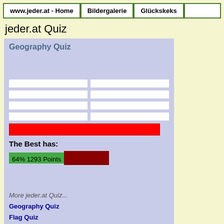www.jeder.at - Home | Bildergalerie | Glückskeks
jeder.at Quiz
[Figure (screenshot): Geography Quiz panel with input fields, a red progress/answer bar, a 'The Best has: 64% 1293 Points' score bar with green and dark red segments, and a list of quiz links below.]
More jeder.at Quiz...
Geography Quiz
Flag Quiz
Photo Quiz
Bird Quiz
Wild Flower Quiz
Mozart Quiz
Road Sign Quiz